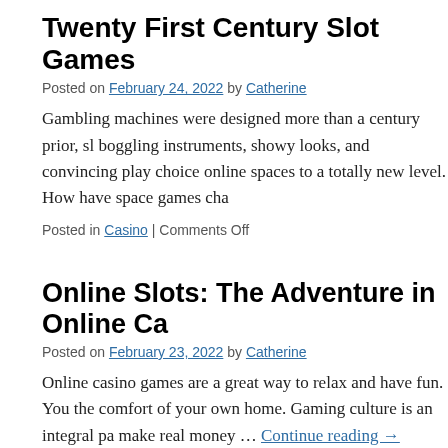Twenty First Century Slot Games
Posted on February 24, 2022 by Catherine
Gambling machines were designed more than a century prior, sl boggling instruments, showy looks, and convincing play choice online spaces to a totally new level. How have space games cha
Posted in Casino | Comments Off
Online Slots: The Adventure in Online Ca
Posted on February 23, 2022 by Catherine
Online casino games are a great way to relax and have fun. You the comfort of your own home. Gaming culture is an integral pa make real money … Continue reading →
Posted in Casino | Comments Off
How to Get a Free Home Security Alarm S